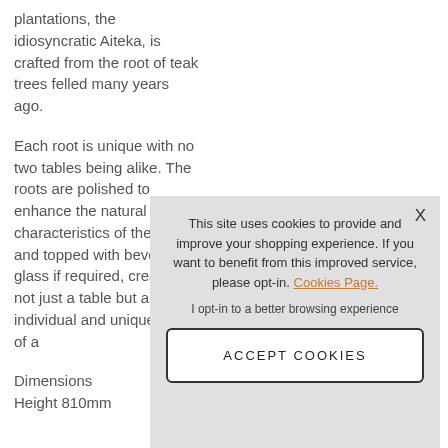plantations, the idiosyncratic Aiteka, is crafted from the root of teak trees felled many years ago.

Each root is unique with no two tables being alike. The roots are polished to enhance the natural characteristics of the teak and topped with bevelled glass if required, creating not just a table but an individual and unique piece of a

Dimensions
Height 810mm
This site uses cookies to provide and improve your shopping experience. If you want to benefit from this improved service, please opt-in. Cookies Page.

I opt-in to a better browsing experience

ACCEPT COOKIES